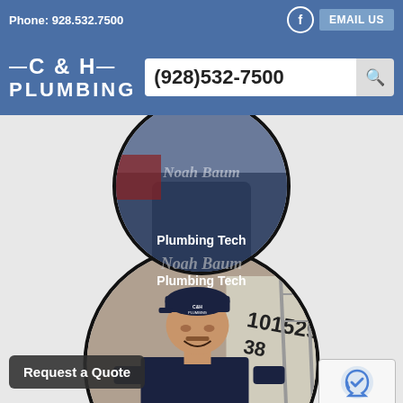Phone: 928.532.7500
[Figure (logo): C&H Plumbing logo with dashes]
(928)532-7500
[Figure (photo): Circular photo of Noah Baum, Plumbing Tech, wearing dark C&H Plumbing shirt, back facing camera]
Noah Baum
Plumbing Tech
[Figure (photo): Circular photo of Jr Fox smiling, wearing C&H Plumbing cap and dark shirt, standing in front of truck]
Jr Fox
Request a Quote